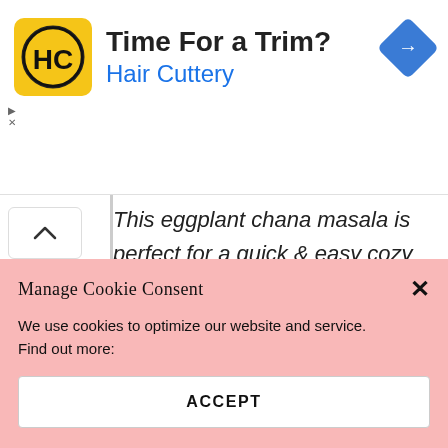[Figure (logo): Hair Cuttery advertisement banner with HC logo (yellow square with black HC letters), title 'Time For a Trim?', subtitle 'Hair Cuttery' in blue, and a blue navigation/directions diamond icon on the right]
This eggplant chana masala is perfect for a quick & easy cozy dinner. It's creamy, filling, made in one pot, vegan, and gluten-free!
Manage Cookie Consent
We use cookies to optimize our website and service. Find out more:
ACCEPT